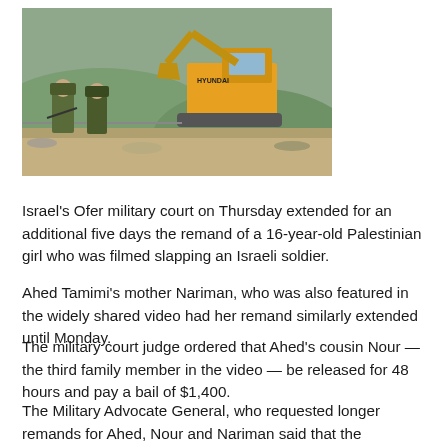[Figure (photo): Soldiers standing near a Hyundai excavator on a hillside construction/demolition site]
Israel's Ofer military court on Thursday extended for an additional five days the remand of a 16-year-old Palestinian girl who was filmed slapping an Israeli soldier.
Ahed Tamimi's mother Nariman, who was also featured in the widely shared video had her remand similarly extended until Monday.
The military court judge ordered that Ahed's cousin Nour — the third family member in the video — be released for 48 hours and pay a bail of $1,400.
The Military Advocate General, who requested longer remands for Ahed, Nour and Nariman said that the prosecution intends on filing indictments for each of them…